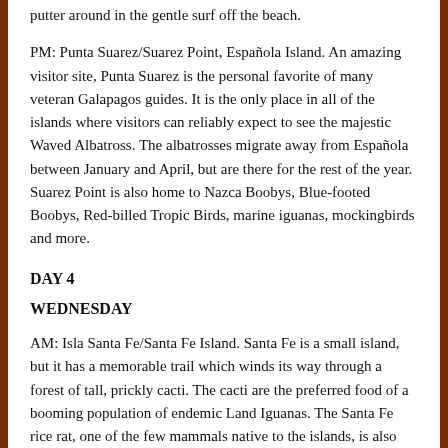putter around in the gentle surf off the beach.
PM: Punta Suarez/Suarez Point, Española Island. An amazing visitor site, Punta Suarez is the personal favorite of many veteran Galapagos guides. It is the only place in all of the islands where visitors can reliably expect to see the majestic Waved Albatross. The albatrosses migrate away from Española between January and April, but are there for the rest of the year. Suarez Point is also home to Nazca Boobys, Blue-footed Boobys, Red-billed Tropic Birds, marine iguanas, mockingbirds and more.
DAY 4
WEDNESDAY
AM: Isla Santa Fe/Santa Fe Island. Santa Fe is a small island, but it has a memorable trail which winds its way through a forest of tall, prickly cacti. The cacti are the preferred food of a booming population of endemic Land Iguanas. The Santa Fe rice rat, one of the few mammals native to the islands, is also found there, although the elusive rodent is seldom seen by visitors. The native population of giant tortoises on Santa Fe was wiped out by whalers over a century ago, but in 2015 some Española tortoises were released onto the island. It is possible to go snorkeling and kayaking off of the island after the hike.
PM: Charles Darwin Station/Fausto Llerena Breeding Center, Santa Cruz Island. Named after the Galapagos Park Ranger who served for 43 years, the Fausto Llerena Breeding center is home to hundreds of baby tortoises of